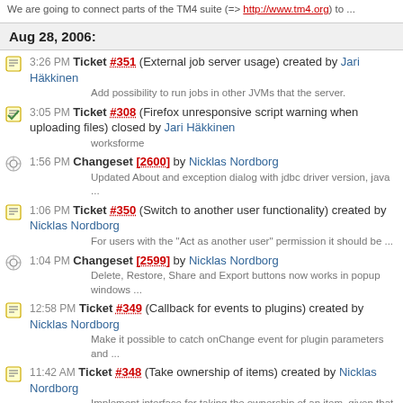We are going to connect parts of the TM4 suite (=> http://www.tm4.org) to ...
Aug 28, 2006:
3:26 PM Ticket #351 (External job server usage) created by Jari Häkkinen
Add possibility to run jobs in other JVMs that the server.
3:05 PM Ticket #308 (Firefox unresponsive script warning when uploading files) closed by Jari Häkkinen
worksforme
1:56 PM Changeset [2600] by Nicklas Nordborg
Updated About and exception dialog with jdbc driver version, java ...
1:06 PM Ticket #350 (Switch to another user functionality) created by Nicklas Nordborg
For users with the "Act as another user" permission it should be ...
1:04 PM Changeset [2599] by Nicklas Nordborg
Delete, Restore, Share and Export buttons now works in popup windows ...
12:58 PM Ticket #349 (Callback for events to plugins) created by Nicklas Nordborg
Make it possible to catch onChange event for plugin parameters and ...
11:42 AM Ticket #348 (Take ownership of items) created by Nicklas Nordborg
Implement interface for taking the ownership of an item, given that ...